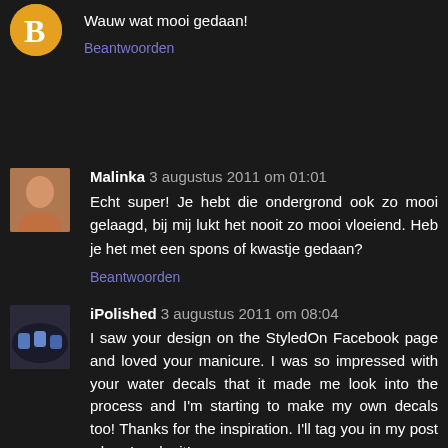Wauw wat mooi gedaan!
Beantwoorden
Malinka 3 augustus 2011 om 01:01
Echt super! Je hebt die ondergrond ook zo mooi gelaagd, bij mij lukt het nooit zo mooi vloeiend. Heb je het met een spons of kwastje gedaan?
Beantwoorden
iPolished 3 augustus 2011 om 08:04
I saw your design on the StyledOn Facebook page and loved your manicure. I was so impressed with your water decals that it made me look into the process and I'm starting to make my own decals too! Thanks for the inspiration. I'll tag you in my post when I make it!
Beantwoorden